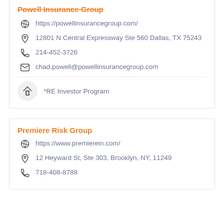Powell Insurance Group
https://powellinsurancegroup.com/
12801 N Central Expressway Ste 560 Dallas, TX 75243
214-452-3726
chad.powell@powellinsurancegroup.com
*RE Investor Program
Premiere Risk Group
https://www.premierein.com/
12 Heyward St, Ste 303, Brooklyn, NY, 11249
718-408-8788